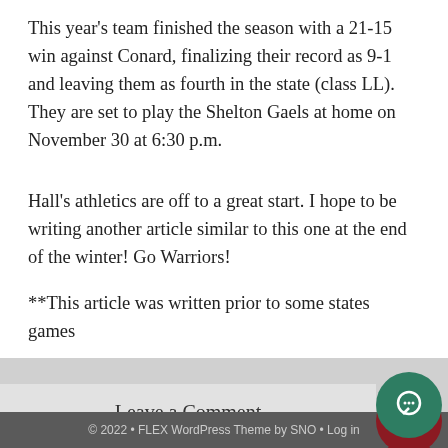This year’s team finished the season with a 21-15 win against Conard, finalizing their record as 9-1 and leaving them as fourth in the state (class LL). They are set to play the Shelton Gaels at home on November 30 at 6:30 p.m.
Hall’s athletics are off to a great start. I hope to be writing another article similar to this one at the end of the winter! Go Warriors!
**This article was written prior to some states games
Leave a Comment
© 2022 • FLEX WordPress Theme by SNO • Log in